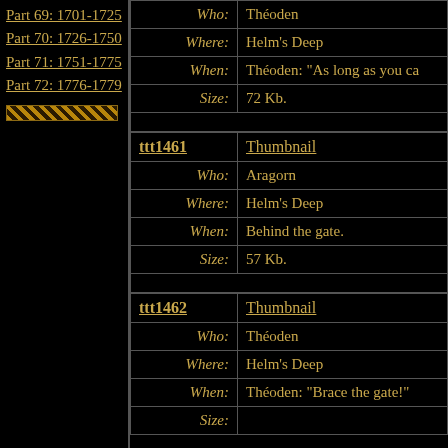Part 69: 1701-1725
Part 70: 1726-1750
Part 71: 1751-1775
Part 72: 1776-1779
| ttt1460 | Thumbnail |
| --- | --- |
| Who: | Théoden |
| Where: | Helm's Deep |
| When: | Théoden: "As long as you ca... |
| Size: | 72 Kb. |
| ttt1461 | Thumbnail |
| --- | --- |
| Who: | Aragorn |
| Where: | Helm's Deep |
| When: | Behind the gate. |
| Size: | 57 Kb. |
| ttt1462 | Thumbnail |
| --- | --- |
| Who: | Théoden |
| Where: | Helm's Deep |
| When: | Théoden: "Brace the gate!" |
| Size: |  |